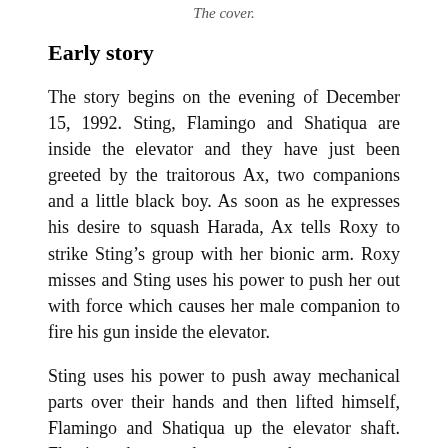The cover.
Early story
The story begins on the evening of December 15, 1992. Sting, Flamingo and Shatiqua are inside the elevator and they have just been greeted by the traitorous Ax, two companions and a little black boy. As soon as he expresses his desire to squash Harada, Ax tells Roxy to strike Sting’s group with her bionic arm. Roxy misses and Sting uses his power to push her out with force which causes her male companion to fire his gun inside the elevator.
Sting uses his power to push away mechanical parts over their hands and then lifted himself, Flamingo and Shatiqua up the elevator shaft. Flamingo then uses her power to heat up